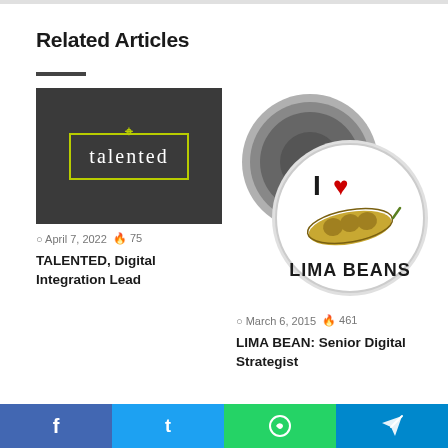Related Articles
[Figure (screenshot): Dark grey background image with green/yellow bordered rectangle and 'talented' text logo with a crosshair icon]
April 7, 2022  75
TALENTED, Digital Integration Lead
[Figure (photo): A round button/badge with 'I ❤ LIMA BEANS' text and illustration of lima bean pod on white background with metallic pin-back visible]
March 6, 2015  461
LIMA BEAN: Senior Digital Strategist
f  t  WhatsApp icon  Telegram icon